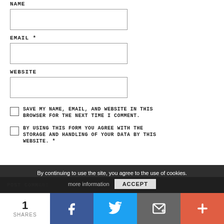NAME
[Figure (other): Text input field for NAME]
EMAIL *
[Figure (other): Text input field for EMAIL]
WEBSITE
[Figure (other): Text input field for WEBSITE]
SAVE MY NAME, EMAIL, AND WEBSITE IN THIS BROWSER FOR THE NEXT TIME I COMMENT.
BY USING THIS FORM YOU AGREE WITH THE STORAGE AND HANDLING OF YOUR DATA BY THIS WEBSITE. *
By continuing to use the site, you agree to the use of cookies.
more information
ACCEPT
POST COMMENT
1
SHARES